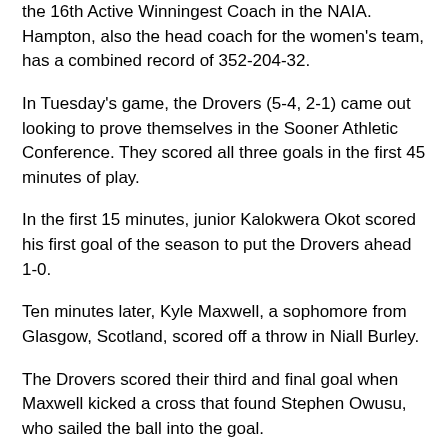the 16th Active Winningest Coach in the NAIA. Hampton, also the head coach for the women's team, has a combined record of 352-204-32.
In Tuesday's game, the Drovers (5-4, 2-1) came out looking to prove themselves in the Sooner Athletic Conference. They scored all three goals in the first 45 minutes of play.
In the first 15 minutes, junior Kalokwera Okot scored his first goal of the season to put the Drovers ahead 1-0.
Ten minutes later, Kyle Maxwell, a sophomore from Glasgow, Scotland, scored off a throw in Niall Burley.
The Drovers scored their third and final goal when Maxwell kicked a cross that found Stephen Owusu, who sailed the ball into the goal.
The Drovers had another strong game offensively and spent much of the game on the attack. In total, USAO had 25 shots to JBU's seven.
USAO's Bryan Byars (5-4) had three saves in the game. He recorded his third shutout of the season.
Drovers Against Cancer hosted the game and sold concessions